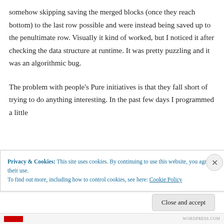somehow skipping saving the merged blocks (once they reach bottom) to the last row possible and were instead being saved up to the penultimate row. Visually it kind of worked, but I noticed it after checking the data structure at runtime. It was pretty puzzling and it was an algorithmic bug.
The problem with people's Pure initiatives is that they fall short of trying to do anything interesting. In the past few days I programmed a little
Privacy & Cookies: This site uses cookies. By continuing to use this website, you agree to their use.
To find out more, including how to control cookies, see here: Cookie Policy